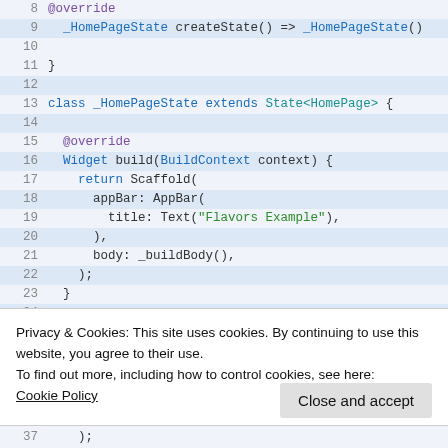[Figure (screenshot): Code editor screenshot showing Dart/Flutter code for a _HomePageState class with build and _buildBody methods, lines 8-27]
Privacy & Cookies: This site uses cookies. By continuing to use this website, you agree to their use.
To find out more, including how to control cookies, see here:
Cookie Policy
Close and accept